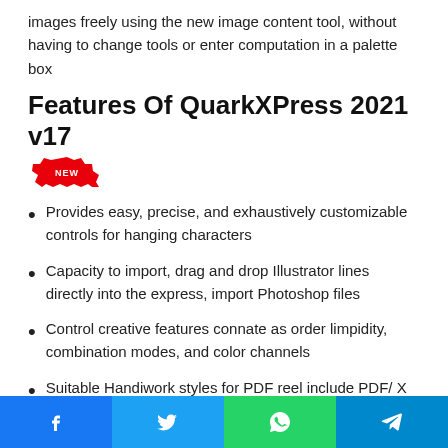images freely using the new image content tool, without having to change tools or enter computation in a palette box
Features Of QuarkXPress 2021 v17
[Figure (illustration): Red starburst badge with white text reading NEW]
Provides easy, precise, and exhaustively customizable controls for hanging characters
Capacity to import, drag and drop Illustrator lines directly into the express, import Photoshop files
Control creative features connate as order limpidity, combination modes, and color channels
Suitable Handiwork styles for PDF reel include PDF/ X and PDF/ X PLUS
Easy express layout with drag and drop capabilities
Social share bar with Facebook, Twitter, WhatsApp, Telegram icons